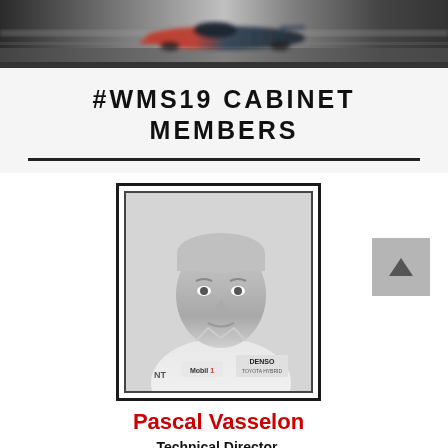[Figure (photo): Blurred racing car photo at the top of the page]
#WMS19 CABINET MEMBERS
[Figure (photo): Black and white portrait photo of Pascal Vasselon in a white Toyota Motorsport jacket with DENSO and Mobil 1 logos, inside a double-bordered frame]
Pascal Vasselon
Technical Director, Toyota Motorsport GmbH